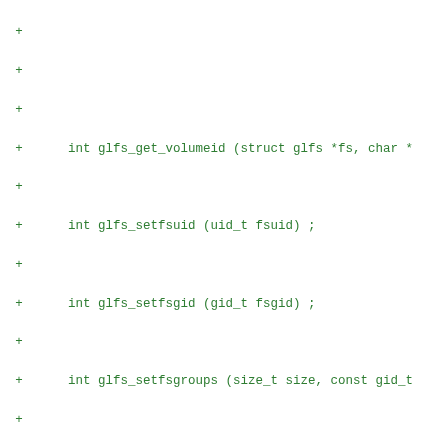+ (blank)
+ (blank)
+ (blank)
+     int glfs_get_volumeid (struct glfs *fs, char *
+ (blank)
+     int glfs_setfsuid (uid_t fsuid) ;
+ (blank)
+     int glfs_setfsgid (gid_t fsgid) ;
+ (blank)
+     int glfs_setfsgroups (size_t size, const gid_t
+ (blank)
+     glfs_fd_t *glfs_open (glfs_t *fs, const char *
+ (blank)
+     glfs_fd_t *glfs_creat (glfs_t *fs, const char
+ (blank)
+     int glfs_close (glfs_fd_t *fd) ;
+ (blank)
+     glfs_t *glfs_from_glfd (glfs_fd_t *fd) ;
+ (blank)
+     int glfs_set_xlator_option (glfs_t *fs, const
+ (blank)
+     typedef void (*glfs_io_cbk) (glfs_fd_t *fd, ss
+ (blank)
+     ssize_t glfs_read (glfs_fd_t *fd, void *buf,si
+ (blank)
+     ssize_t glfs_write (glfs_fd_t *fd, const void
+ (blank)
+     int glfs_read_async (glfs_fd_t *fd, void *buf,
+ (blank)
+     int glfs_write_async (glfs_fd_t *fd, const voi